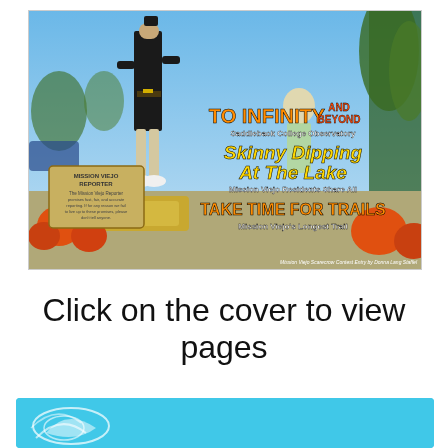[Figure (photo): Magazine cover for Mission Viejo Reporter showing scarecrow display with Halloween decorations, pumpkins, and hay bales. Cover stories include 'TO INFINITY AND BEYOND - Saddleback College Observatory', 'Skinny Dipping At The Lake - Mission Viejo Residents Share All', and 'TAKE TIME FOR TRAILS - Mission Viejo's Longest Trail'. Caption reads: Mission Viejo Scarecrow Contest Entry by Donna Lang Staffel.]
Click on the cover to view pages
[Figure (photo): Bottom banner with cyan/turquoise background showing partial decorative logo or illustration in white.]